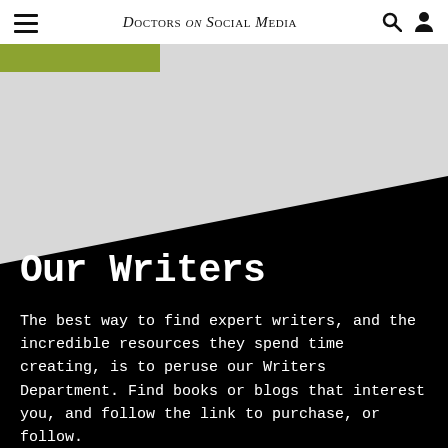Doctors on Social Media
[Figure (illustration): Diagonal split background with gray upper section and black lower section, green accent tab top-left]
Our Writers
The best way to find expert writers, and the incredible resources they spend time creating, is to peruse our Writers Department. Find books or blogs that interest you, and follow the link to purchase, or follow.